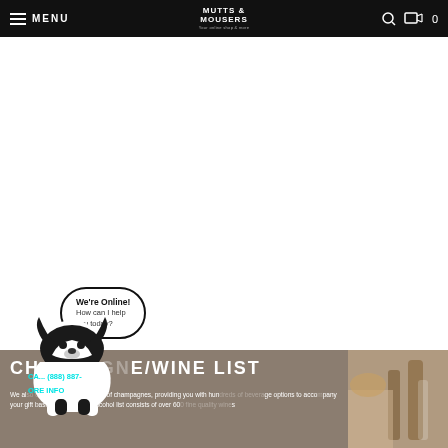MENU | MUTTS & MOUSERS | Search | Cart 0
[Figure (screenshot): White area representing a webpage banner/hero image area (blank/loading)]
[Figure (illustration): Border collie dog with speech bubble saying 'We're Online! How can I help you today?' chat widget]
CA... (888) 887- MORE INFO CHES
CHAMPAGNE/WINE LIST
We also offer an extensive range of champagnes, providing you with hundreds of beverage options to accompany your gift basket. Our curated alcohol list consists of over 600 fine quality wines...